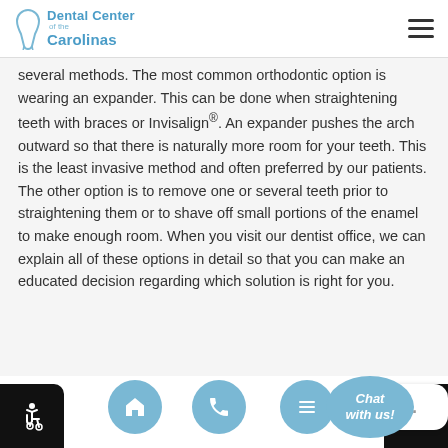Dental Center of the Carolinas
several methods. The most common orthodontic option is wearing an expander. This can be done when straightening teeth with braces or Invisalign®. An expander pushes the arch outward so that there is naturally more room for your teeth. This is the least invasive method and often preferred by our patients. The other option is to remove one or several teeth prior to straightening them or to shave off small portions of the enamel to make enough room. When you visit our dentist office, we can explain all of these options in detail so that you can make an educated decision regarding which solution is right for you.
[Figure (other): Footer navigation bar with home icon button, phone icon button, and a chat bubble element with 'Chat with us!' text and a speech bubble with ellipsis dots. Accessibility icon (wheelchair) on bottom left and globe icon on bottom right.]